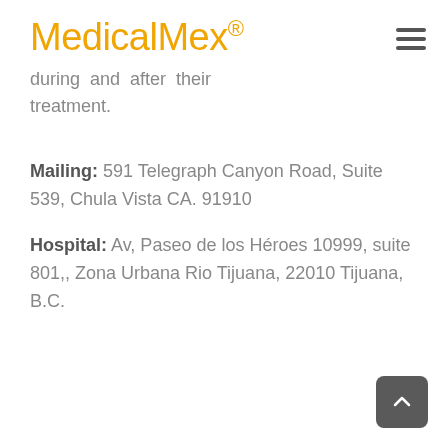MedicalMex®
during and after their treatment.
Mailing: 591 Telegraph Canyon Road, Suite 539, Chula Vista CA. 91910
Hospital: Av, Paseo de los Héroes 10999, suite 801,, Zona Urbana Rio Tijuana, 22010 Tijuana, B.C.